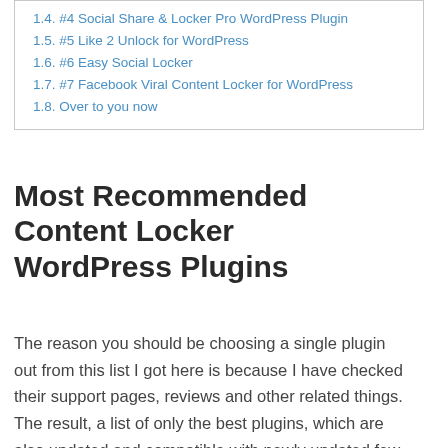1.4. #4 Social Share & Locker Pro WordPress Plugin
1.5. #5 Like 2 Unlock for WordPress
1.6. #6 Easy Social Locker
1.7. #7 Facebook Viral Content Locker for WordPress
1.8. Over to you now
Most Recommended Content Locker WordPress Plugins
The reason you should be choosing a single plugin out from this list I got here is because I have checked their support pages, reviews and other related things. The result, a list of only the best plugins, which are also updated and compatible with newly updated few